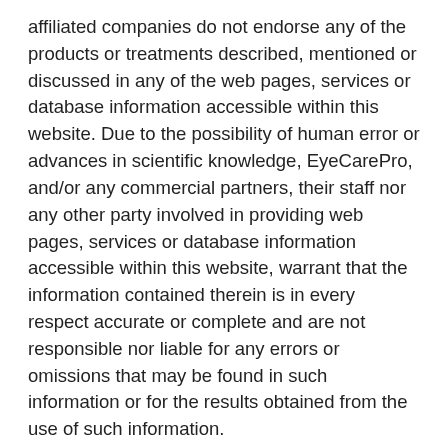affiliated companies do not endorse any of the products or treatments described, mentioned or discussed in any of the web pages, services or database information accessible within this website. Due to the possibility of human error or advances in scientific knowledge, EyeCarePro, and/or any commercial partners, their staff nor any other party involved in providing web pages, services or database information accessible within this website, warrant that the information contained therein is in every respect accurate or complete and are not responsible nor liable for any errors or omissions that may be found in such information or for the results obtained from the use of such information.
The material contained in this website, including but not limited to text, graphics, video, audio, trademarks and logos, includes that which is owned or controlled by EyeCarePro and that which is owned or controlled by third parties. EyeCarePro authorizes you to view and download